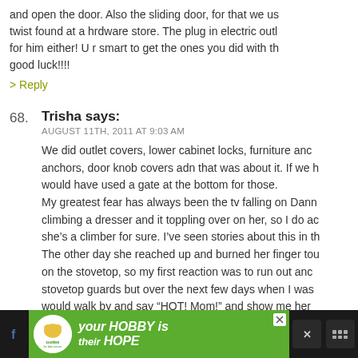and open the door. Also the sliding door, for that we us... twist found at a hrdware store. The plug in electric outl... for him either! U r smart to get the ones you did with th... good luck!!!!
> Reply
68. Trisha says: AUGUST 11TH, 2011 AT 9:03 AM
We did outlet covers, lower cabinet locks, furniture anc... anchors, door knob covers adn that was about it. If we h... would have used a gate at the bottom for those. My greatest fear has always been the tv falling on Dann... climbing a dresser and it toppling over on her, so I do ac... she's a climber for sure. I've seen stories about this in th... The other day she reached up and burned her finger tou... on the stovetop, so my first reaction was to run out anc... stovetop guards but over the next few days when I was... would walk by and say "HOT! Mom!" and show me her ...
[Figure (screenshot): Advertisement banner at bottom: dark background with cookies for kids cancer logo (circular white badge with green text), yellow heart cookie image held by hands, text 'your HOBBY is their HOPE' in white bold italic on green background, with close X button, and social media icons on right side in dark panels.]